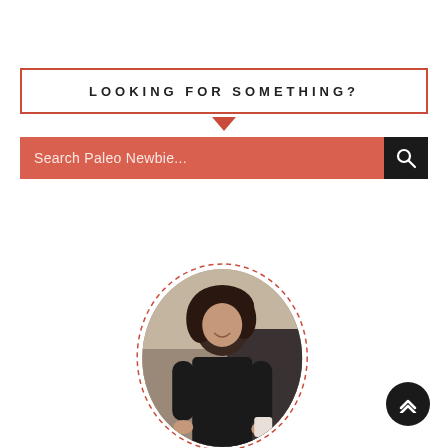LOOKING FOR SOMETHING?
Search Paleo Newbie...
[Figure (photo): Portrait photo of a smiling woman with dark curly hair wearing a black shirt, shown in an oval dashed-border frame, in a kitchen setting]